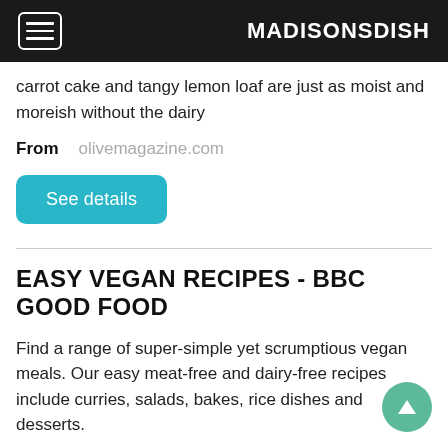MADISONSDISH
carrot cake and tangy lemon loaf are just as moist and moreish without the dairy
From   olivemagazine.com
See details
EASY VEGAN RECIPES - BBC GOOD FOOD
Find a range of super-simple yet scrumptious vegan meals. Our easy meat-free and dairy-free recipes include curries, salads, bakes, rice dishes and desserts.
From   bbcgoodfood.com